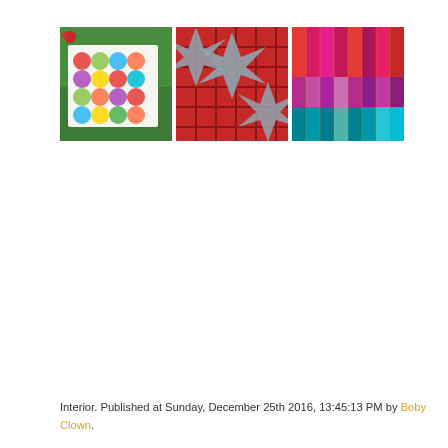[Figure (photo): Three thumbnail photos in a row: (1) colorful polka-dot quilt laid on grass, (2) plaid/geometric star-pattern quilt in blue and red, (3) vertical striped fabric in red, pink, teal gradient colors]
Interior. Published at Sunday, December 25th 2016, 13:45:13 PM by Boby Clown.